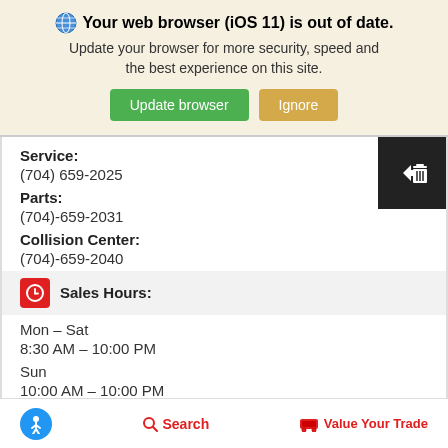Your web browser (iOS 11) is out of date. Update your browser for more security, speed and the best experience on this site.
Service:
(704) 659-2025
Parts:
(704)-659-2031
Collision Center:
(704)-659-2040
Sales Hours:
Mon - Sat
8:30 AM – 10:00 PM
Sun
10:00 AM – 10:00 PM
Service Hours:
Search   Value Your Trade